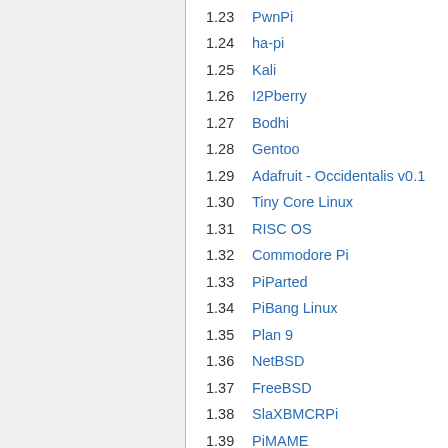1.23 PwnPi
1.24 ha-pi
1.25 Kali
1.26 I2Pberry
1.27 Bodhi
1.28 Gentoo
1.29 Adafruit - Occidentalis v0.1
1.30 Tiny Core Linux
1.31 RISC OS
1.32 Commodore Pi
1.33 PiParted
1.34 PiBang Linux
1.35 Plan 9
1.36 NetBSD
1.37 FreeBSD
1.38 SlaXBMCRPi
1.39 PiMAME
1.40 PiBox
1.41 OpenWrt
1.42 Nard